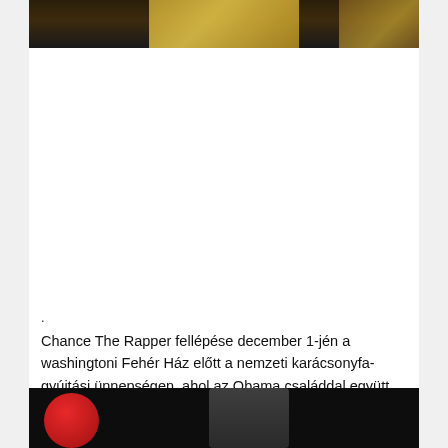[Figure (photo): Top portion of a photo showing people at an event with golden/warm tones, partially cropped at the top of the page]
.
Chance The Rapper fellépése december 1-jén a washingtoni Fehér Ház előtt a nemzeti karácsonyfagyújtási ünnepségen, ahol az Obama családdal együtt énekelte a Jingle Bellst:
[Figure (photo): Bottom portion of a photo showing a red circular shape (hat or element) and partially visible faces against a dark background, cropped at the bottom of the page]